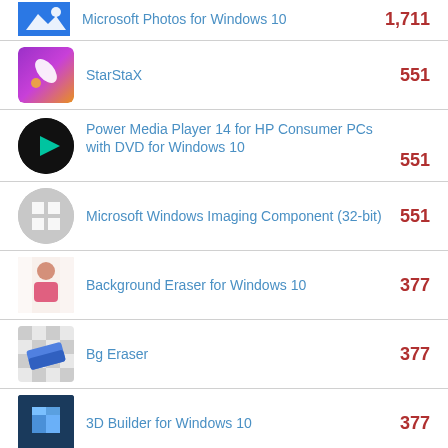Microsoft Photos for Windows 10 — 1,711
StarStaX — 551
Power Media Player 14 for HP Consumer PCs with DVD for Windows 10 — 551
Microsoft Windows Imaging Component (32-bit) — 551
Background Eraser for Windows 10 — 377
Bg Eraser — 377
3D Builder for Windows 10 — 377
Vance AI — 232
Kernel Photo Repair — 203